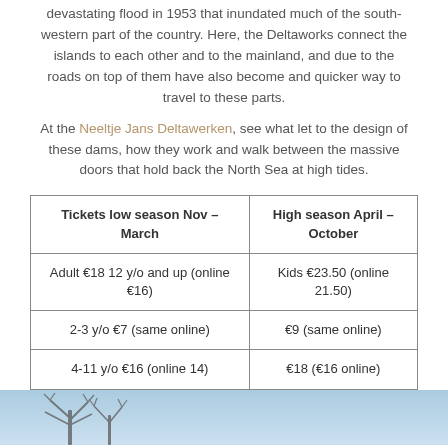devastating flood in 1953 that inundated much of the south-western part of the country. Here, the Deltaworks connect the islands to each other and to the mainland, and due to the roads on top of them have also become and quicker way to travel to these parts.
At the Neeltje Jans Deltawerken, see what let to the design of these dams, how they work and walk between the massive doors that hold back the North Sea at high tides.
| Tickets low season Nov – March | High season April – October |
| --- | --- |
| Adult €18 12 y/o and up (online €16) | Kids €23.50 (online 21.50) |
| 2-3 y/o €7 (same online) | €9 (same online) |
| 4-11 y/o €16 (online 14) | €18 (€16 online) |
[Figure (photo): Winter landscape photo showing bare trees against a light blue sky, partially cut off at bottom of page.]